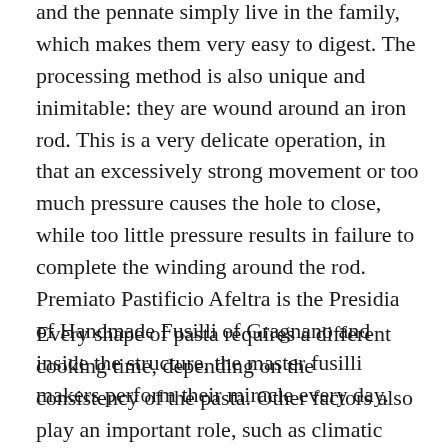and the pennate simply live in the family, which makes them very easy to digest. The processing method is also unique and inimitable: they are wound around an iron rod. This is a very delicate operation, in that an excessively strong movement or too much pressure causes the hole to close, while too little pressure results in failure to complete the winding around the rod. Premiato Pastificio Afeltra is the Presidia of Handmade Fusilli of Gragnano and inside the structure, the master fusilli makers perform their miracle every day.
Every shape of pasta requires a different cooking time, depending on the consistency of the pasta. Other factors also play an important role, such as climatic conditions, the heat of the burner, outdoor humidity and the amount of water. We suggest, for